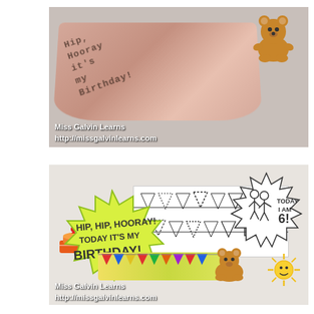[Figure (photo): A child's wrist wearing a birthday band that reads 'Hip Hip Hooray it's my birthday', with a small bear sticker in top right corner, and Miss Galvin Learns logo watermark at bottom left]
[Figure (photo): Birthday classroom materials including: a white card with bunting and 'Today I am 6!' starburst, a green burst shape saying 'Hip Hip Hooray! Today it's my birthday!', a colorful band, fruit and cake stickers, bear and sun stickers, and Miss Galvin Learns logo watermark]